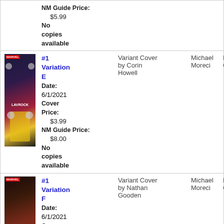NM Guide Price: $5.99 No copies available
[Figure (photo): Comic book cover for Variation E, showing a woman in yellow with skulls]
#1 Variation E Date: 6/1/2021 Cover Price: $3.99 NM Guide Price: $8.00 No copies available
Variant Cover by Corin Howell
Michael Moreci
Nathan Gooden
[Figure (photo): Comic book cover for Variation F, showing action scene]
#1 Variation F Date: 6/1/2021 Cover Price: $3.99
Variant Cover by Nathan Gooden
Michael Moreci
Nathan Gooden